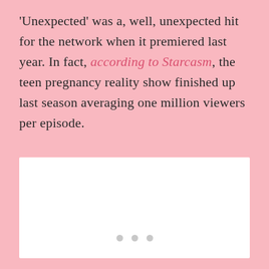'Unexpected' was a, well, unexpected hit for the network when it premiered last year. In fact, according to Starcasm, the teen pregnancy reality show finished up last season averaging one million viewers per episode.
[Figure (other): White rectangular image placeholder with three gray dots at the bottom center indicating a loading or carousel indicator.]